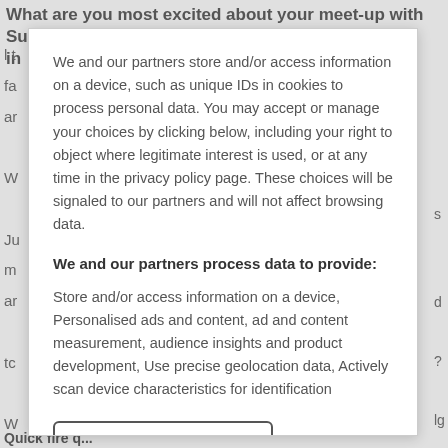What are you most excited about your meet-up with Superdrug and in
We and our partners store and/or access information on a device, such as unique IDs in cookies to process personal data. You may accept or manage your choices by clicking below, including your right to object where legitimate interest is used, or at any time in the privacy policy page. These choices will be signaled to our partners and will not affect browsing data.
We and our partners process data to provide:
Store and/or access information on a device, Personalised ads and content, ad and content measurement, audience insights and product development, Use precise geolocation data, Actively scan device characteristics for identification
List of Partners (vendors)
Quick fire q...